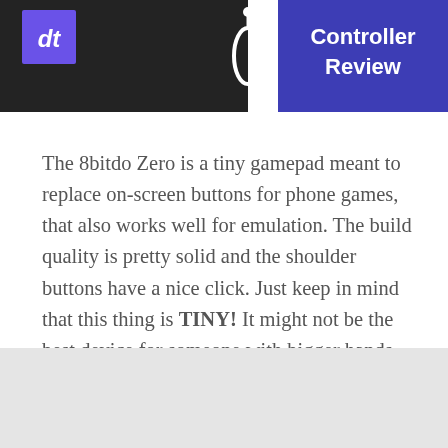[Figure (photo): Banner image showing a gaming controller review thumbnail. Left side shows a person in dark clothing with a blue/purple 'dt' logo overlay. Right side has a dark blue/purple background with bold white text reading 'Controller Review'. A white headphone/earbud is visible in the center.]
The 8bitdo Zero is a tiny gamepad meant to replace on-screen buttons for phone games, that also works well for emulation. The build quality is pretty solid and the shoulder buttons have a nice click. Just keep in mind that this thing is TINY! It might not be the best device for someone with bigger hands. Also, it is missing some buttons compared to an Xbox controller, so don't expect to play AAA titles on the go with it.